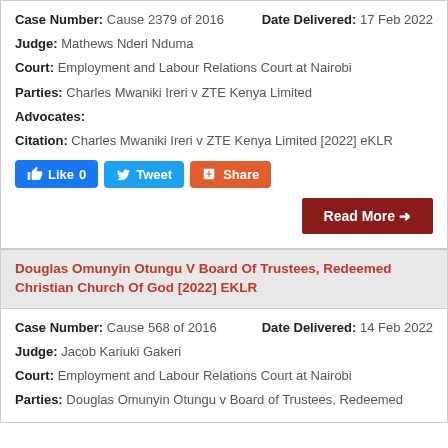Case Number: Cause 2379 of 2016   Date Delivered: 17 Feb 2022
Judge: Mathews Nderi Nduma
Court: Employment and Labour Relations Court at Nairobi
Parties: Charles Mwaniki Ireri v ZTE Kenya Limited
Advocates:
Citation: Charles Mwaniki Ireri v ZTE Kenya Limited [2022] eKLR
[Figure (other): Social media buttons: Like 0, Tweet, Share]
Read More →
Douglas Omunyin Otungu V Board Of Trustees, Redeemed Christian Church Of God [2022] EKLR
Case Number: Cause 568 of 2016   Date Delivered: 14 Feb 2022
Judge: Jacob Kariuki Gakeri
Court: Employment and Labour Relations Court at Nairobi
Parties: Douglas Omunyin Otungu v Board of Trustees, Redeemed...